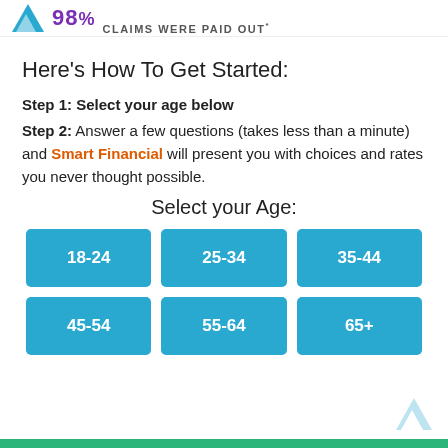98% CLAIMS WERE PAID OUT*
Here's How To Get Started:
Step 1: Select your age below
Step 2: Answer a few questions (takes less than a minute) and Smart Financial will present you with choices and rates you never thought possible.
Select your Age:
18-24 | 25-34 | 35-44 | 45-54 | 55-64 | 65+